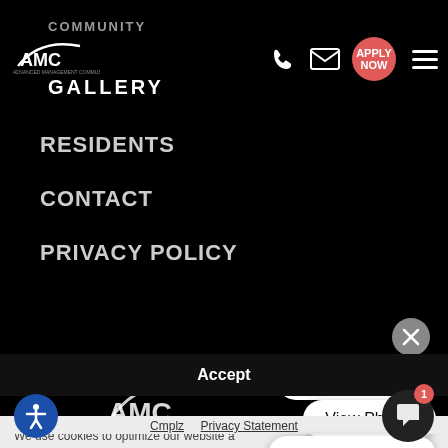[Figure (screenshot): AMC Advanced Management Community website navigation screenshot showing mobile menu overlay with dark background]
COMMUNITY AMC GALLERY
RESIDENTS
CONTACT
PRIVACY POLICY
Schedule a Tour
View Photos
Prices / Availability
We use cookies to optimize our website a
Accept
Cmplz   Privacy Statement